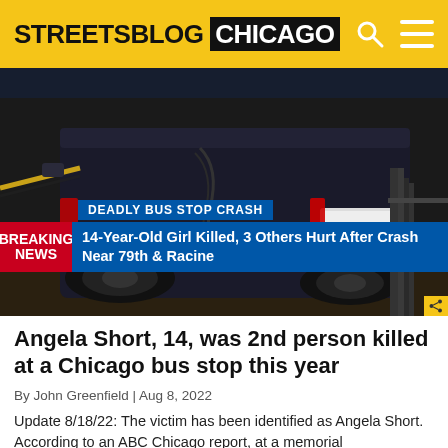STREETSBLOG CHICAGO
[Figure (photo): Nighttime photo of a damaged dark SUV at a crash scene near a bus stop, with police tape visible. TV news chyron overlay: 'DEADLY BUS STOP CRASH / BREAKING NEWS: 14-Year-Old Girl Killed, 3 Others Hurt After Crash Near 79th & Racine']
Angela Short, 14, was 2nd person killed at a Chicago bus stop this year
By John Greenfield | Aug 8, 2022
Update 8/18/22: The victim has been identified as Angela Short. According to an ABC Chicago report, at a memorial